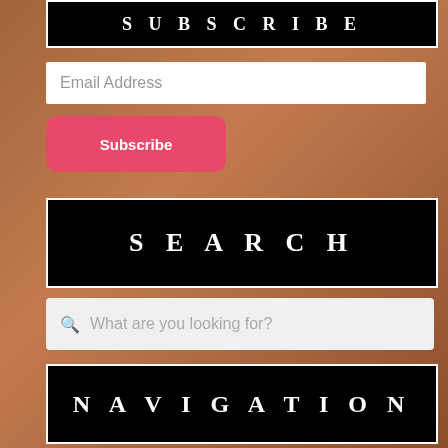SUBSCRIBE
Email Address
Subscribe
SEARCH
What are you looking for?
NAVIGATION